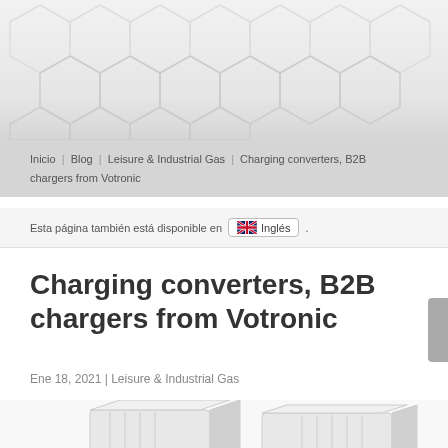[Figure (illustration): Hexagonal honeycomb pattern header background in light gray tones]
Inicio | Blog | Leisure & Industrial Gas | Charging converters, B2B chargers from Votronic
Esta página también está disponible en Inglés .
Charging converters, B2B chargers from Votronic
Ene 18, 2021 | Leisure & Industrial Gas
[Figure (photo): Two Votronic B2B charging converter devices shown side by side, white/gray rectangular electronics units]